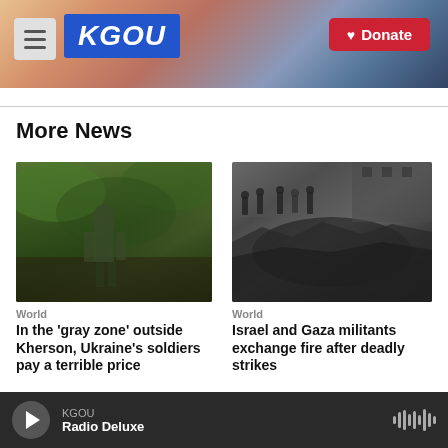KGOU | Donate
More News
[Figure (photo): Soldier in camouflage walking through dense green forest undergrowth]
World
In the 'gray zone' outside Kherson, Ukraine's soldiers pay a terrible price
[Figure (photo): Crowd of people standing around a large bomb crater with debris and damaged building in background]
World
Israel and Gaza militants exchange fire after deadly strikes
KGOU · Radio Deluxe